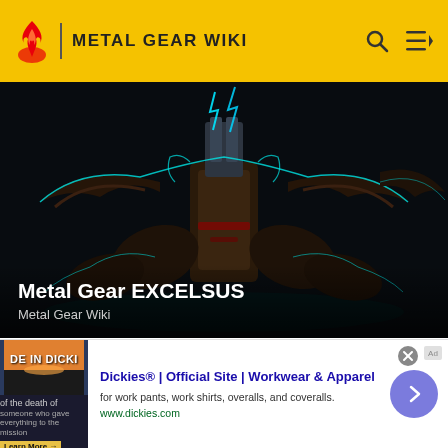METAL GEAR WIKI
[Figure (screenshot): Metal Gear EXCELSUS - a large mechanical robot with cyan electric outlines on dark background]
Metal Gear EXCELSUS
Metal Gear Wiki
[Figure (screenshot): Black robotic spider-like creatures against a grey background]
[Figure (illustration): Advertisement: Dickies Official Site - Workwear and Apparel. Book cover showing 'DE IN DICKI'. For work pants, work shirts, overalls, and coveralls. www.dickies.com]